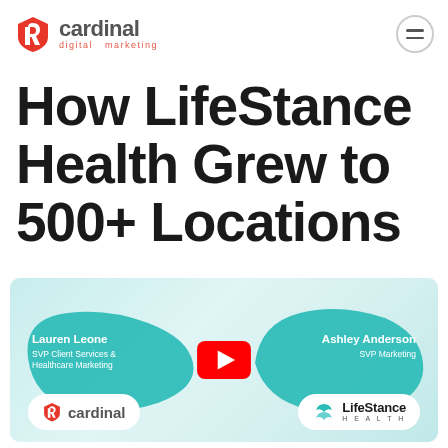[Figure (logo): Cardinal Digital Marketing logo with red shield icon and gray text]
How LifeStance Health Grew to 500+ Locations
[Figure (screenshot): Video thumbnail showing Lauren Leone (SVP Client Services & Healthcare Marketing) on the left and Ashley Anderson (SVP Marketing) on the right, with a YouTube play button in the center, Cardinal logo pill and LifeStance Health logo pill at the bottom]